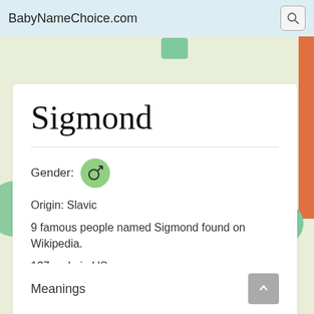BabyNameChoice.com
Sigmond
Gender: ♂
Origin: Slavic
9 famous people named Sigmond found on Wikipedia.
137 male in US.
Most recent ranking: 4835-th in year 1971
Best ranking: 1800-th in year 1917
Meanings